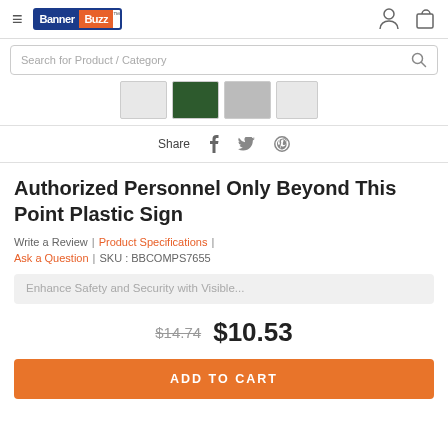BannerBuzz - Navigation bar with hamburger menu, logo, user and cart icons
Search for Product / Category
[Figure (screenshot): Thumbnail strip showing product image thumbnails]
Share  f  [twitter]  [pinterest]
Authorized Personnel Only Beyond This Point Plastic Sign
Write a Review | Product Specifications | Ask a Question | SKU : BBCOMPS7655
Enhance Safety and Security with Visible...
$14.74  $10.53
ADD TO CART